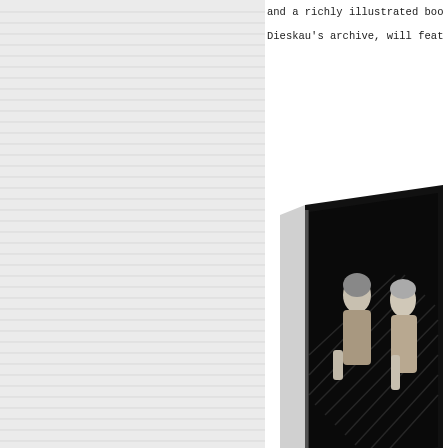[Figure (photo): Left panel showing the edge/spine of a book or stack of pages with horizontal ruled lines visible, on a light grey background.]
and a richly illustrated boo
Dieskau's archive, will feat
[Figure (photo): A black-and-white photograph shown as an open book/publication, depicting two women standing on a stage with diagonal lines in the background. The book is photographed at a slight angle on a white surface.]